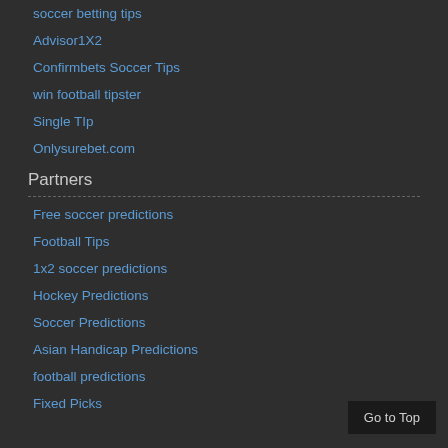soccer betting tips
Advisor1X2
Confirmbets Soccer Tips
win football tipster
Single TIp
Onlysurebet.com
Partners
Free soccer predictions
Football Tips
1x2 soccer predictions
Hockey Predictions
Soccer Predictions
Asian Handicap Predictions
football predictions
Fixed Picks